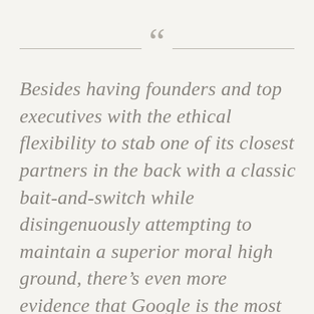Besides having founders and top executives with the ethical flexibility to stab one of its closest partners in the back with a classic bait-and-switch while disingenuously attempting to maintain a superior moral high ground, there's even more evidence that Google is the most evil tech company since Microsoft was, back in the day. It now appears inevitable that, at